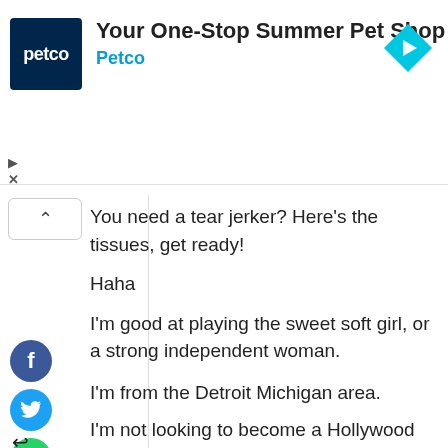[Figure (screenshot): Petco advertisement banner with logo, title 'Your One-Stop Summer Pet Shop', subtitle 'Petco', and a cyan diamond-shaped navigation icon on the right.]
You need a tear jerker? Here's the tissues, get ready!
Haha
I'm good at playing the sweet soft girl, or a strong independent woman.
I'm from the Detroit Michigan area.
I'm not looking to become a Hollywood star.
I just want to entertain people and do what I enjoy while making others happy. 🙂